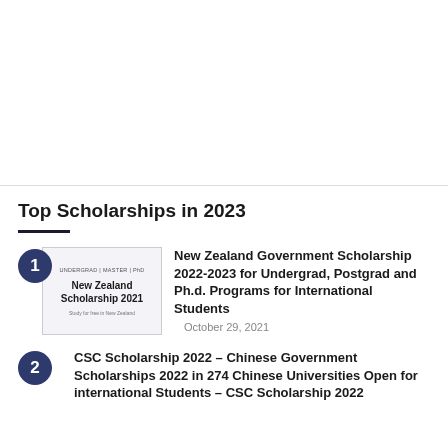[Figure (other): Top white/blank section of the webpage, above the scholarship list]
Top Scholarships in 2023
New Zealand Government Scholarship 2022-2023 for Undergrad, Postgrad and Ph.d. Programs for International Students — October 29, 2021
CSC Scholarship 2022 – Chinese Government Scholarships 2022 in 274 Chinese Universities Open for international Students – CSC Scholarship 2022